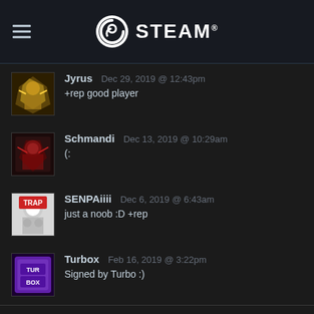STEAM
Jyrus  Dec 29, 2019 @ 12:43pm
+rep good player
Schmandi  Dec 13, 2019 @ 10:29am
(:
SENPAiiii  Dec 6, 2019 @ 6:43am
just a noob :D +rep
Turbox  Feb 16, 2019 @ 3:22pm
Signed by Turbo :)